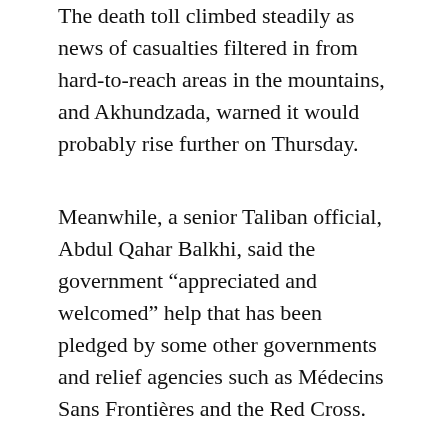The death toll climbed steadily as news of casualties filtered in from hard-to-reach areas in the mountains, and Akhundzada, warned it would probably rise further on Thursday.
Meanwhile, a senior Taliban official, Abdul Qahar Balkhi, said the government “appreciated and welcomed” help that has been pledged by some other governments and relief agencies such as Médecins Sans Frontières and the Red Cross.
“The government sadly is under sanctions so it is financially unable to assist the people to the extent that is needed. The assistance needs to be scaled up to a very large extent because this is a devastating earthquake which